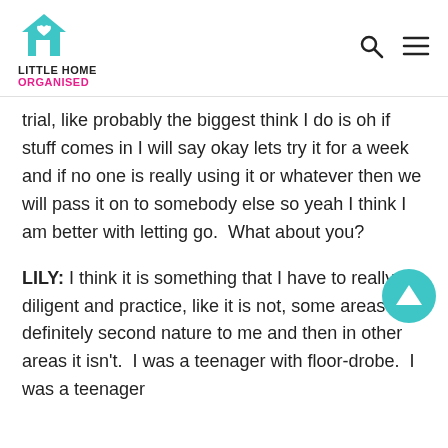LITTLE HOME ORGANISED
trial, like probably the biggest think I do is oh if stuff comes in I will say okay lets try it for a week and if no one is really using it or whatever then we will pass it on to somebody else so yeah I think I am better with letting go.  What about you?
LILY: I think it is something that I have to really diligent and practice, like it is not, some areas it is definitely second nature to me and then in other areas it isn't.  I was a teenager with floor-drobe.  I was a teenager